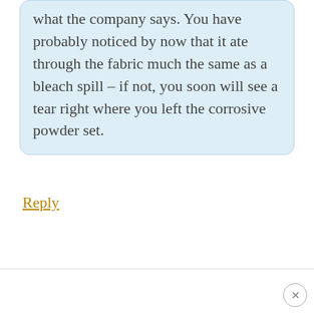what the company says. You have probably noticed by now that it ate through the fabric much the same as a bleach spill – if not, you soon will see a tear right where you left the corrosive powder set.
Reply